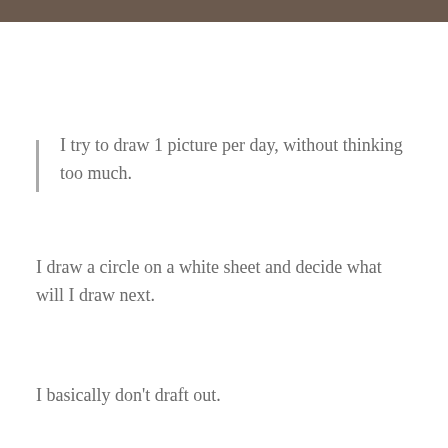[Figure (other): Dark brown horizontal decorative bar at the top of the page]
I try to draw 1 picture per day, without thinking too much.
I draw a circle on a white sheet and decide what will I draw next.
I basically don't draft out.